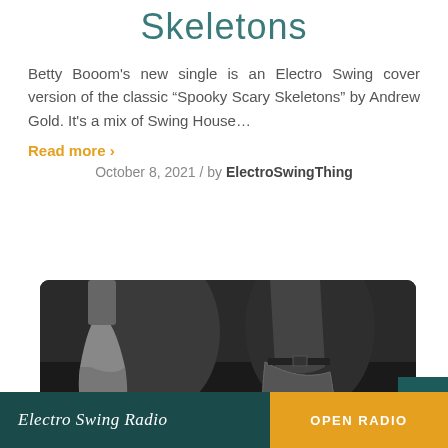Skeletons
Betty Booom's new single is an Electro Swing cover version of the classic “Spooky Scary Skeletons” by Andrew Gold. It's a mix of Swing House…
Read more >
October 8, 2021 / by ElectroSwingThing
[Figure (photo): Black and white photo of swing dancers from the waist down, showing a woman in a skirt and a man in tweed trousers mid-dance]
Electro Swing Radio   OPEN RADIO